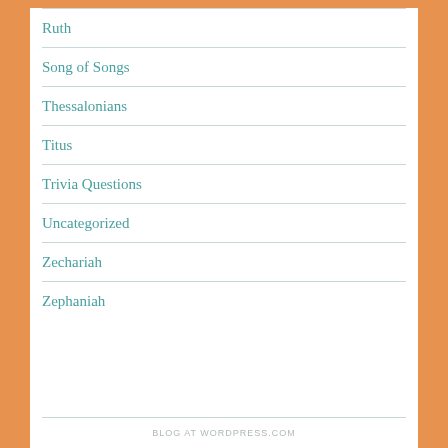Ruth
Song of Songs
Thessalonians
Titus
Trivia Questions
Uncategorized
Zechariah
Zephaniah
BLOG AT WORDPRESS.COM